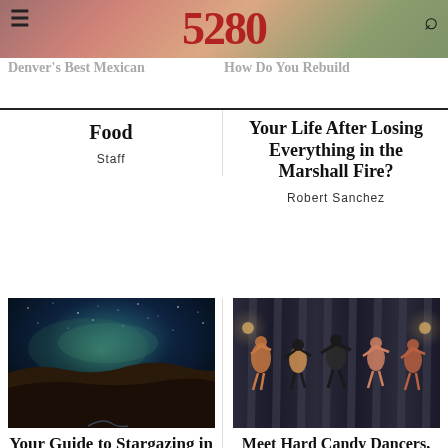5280
Denver's Best Mexican Food
How Do You Rebuild Your Life After Losing Everything in the Marshall Fire?
Food
Staff
How Do You Rebuild Your Life After Losing Everything in the Marshall Fire?
Robert Sanchez
[Figure (photo): Night sky with milky way over a canyon/cliff landscape]
Your Guide to Stargazing in Colorado
Jessica LaRusso
[Figure (photo): Group of burlesque dancers performing on stage with curtains behind them]
Meet Hard Candy Dancers, the Denver-Based Burlesque Company Empowering Audiences at Five Nines